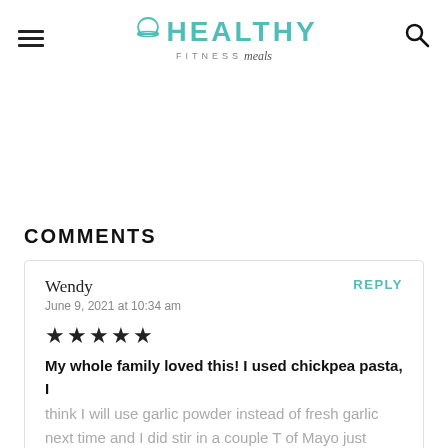HEALTHY FITNESS meals
COMMENTS
Wendy
June 9, 2021 at 10:34 am
★★★★★
My whole family loved this! I used chickpea pasta, I think I will use garlic powder instead of fresh garlic next time and I did stir in a couple T of Mayo just